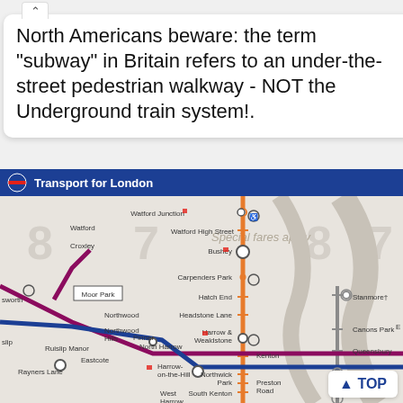North Americans beware: the term "subway" in Britain refers to an under-the-street pedestrian walkway - NOT the Underground train system!.
[Figure (map): Transport for London Underground map showing stations including Watford Junction, Watford High Street, Bushey, Carpenders Park, Hatch End, Headstone Lane, Harrow & Wealdstone, Northwick Park, South Kenton, Harrow-on-the-Hill, North Harrow, Pinner, West Harrow, Moor Park, Northwood, Northwood Hills, Croxley, Watford, Ruislip Manor, Eastcote, Rayners Lane, Stanmore, Canons Park, Queensbury, Kingsbury, Kenton, Preston Road. Shows colored tube lines.]